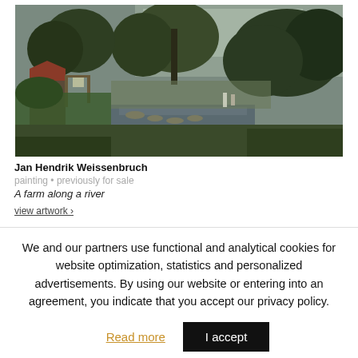[Figure (photo): Oil painting of a farm along a river with trees, a farmhouse on the left, and a body of water reflecting the sky. Dutch landscape painting by Jan Hendrik Weissenbruch.]
Jan Hendrik Weissenbruch
painting • previously for sale
A farm along a river
view artwork >
We and our partners use functional and analytical cookies for website optimization, statistics and personalized advertisements. By using our website or entering into an agreement, you indicate that you accept our privacy policy.
Read more
I accept